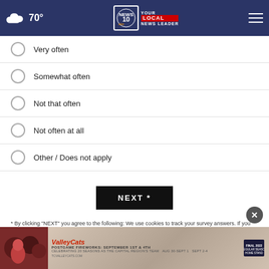70° NEWS 10 YOUR LOCAL NEWS LEADER
Very often
Somewhat often
Not that often
Not often at all
Other / Does not apply
NEXT *
* By clicking "NEXT" you agree to the following: We use cookies to track your survey answers. If you would like to continue with this survey, please read and agree to the CivicScience Privacy Policy and Terms of Service
[Figure (other): Advertisement banner for Tri-City ValleyCats postgame fireworks September 1st & 4th, celebrating 20 seasons as the Capital Region's team]
TOP S